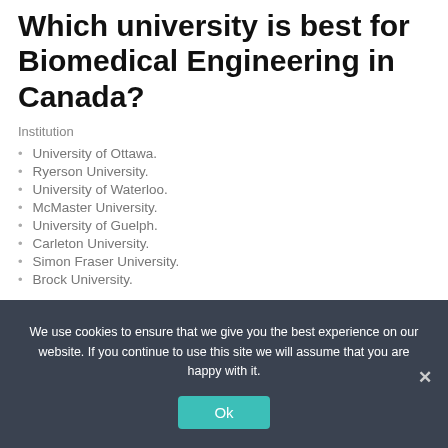Which university is best for Biomedical Engineering in Canada?
Institution
University of Ottawa.
Ryerson University.
University of Waterloo.
McMaster University.
University of Guelph.
Carleton University.
Simon Fraser University.
Brock University.
We use cookies to ensure that we give you the best experience on our website. If you continue to use this site we will assume that you are happy with it.